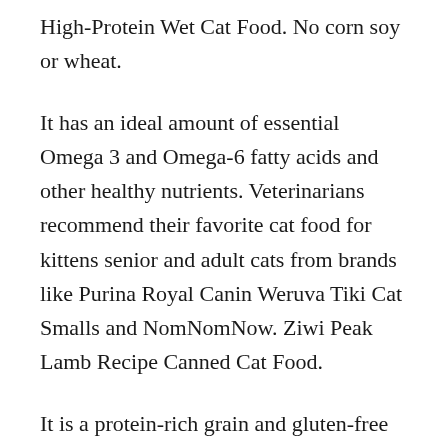High-Protein Wet Cat Food. No corn soy or wheat.
It has an ideal amount of essential Omega 3 and Omega-6 fatty acids and other healthy nutrients. Veterinarians recommend their favorite cat food for kittens senior and adult cats from brands like Purina Royal Canin Weruva Tiki Cat Smalls and NomNomNow. Ziwi Peak Lamb Recipe Canned Cat Food.
It is a protein-rich grain and gluten-free cat food that fulfills all the nutritional needs of the cats. Ziwipeak Daily Cat Cuisine Tins Lamb.